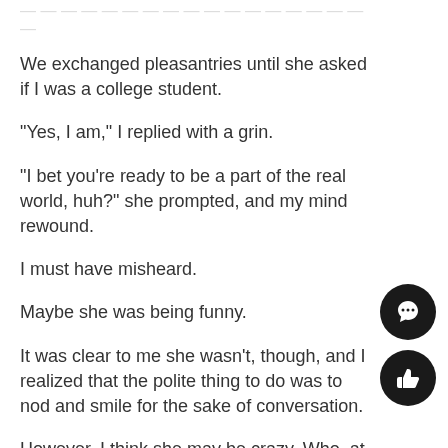We exchanged pleasantries until she asked if I was a college student.
“Yes, I am,” I replied with a grin.
“I bet you’re ready to be a part of the real world, huh?” she prompted, and my mind rewound.
I must have misheard.
Maybe she was being funny.
It was clear to me she wasn’t, though, and I realized that the polite thing to do was to nod and smile for the sake of conversation.
However, I think she may be crazy. Who, at the age of 19, wants to be an adult soon? I have a “work day” of about seven hours on average if you add up my classes and studying.